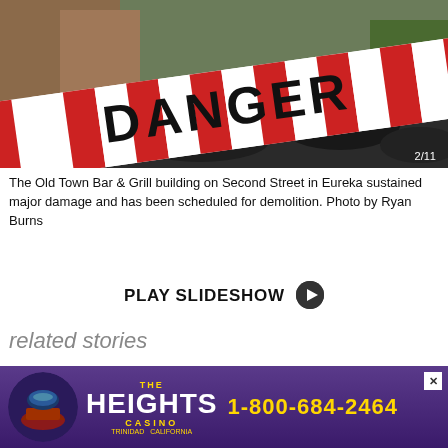[Figure (photo): Red and white danger tape with bold DANGER text, shot outdoors near a street with rubble visible below, partly in rain.]
The Old Town Bar & Grill building on Second Street in Eureka sustained major damage and has been scheduled for demolition. Photo by Ryan Burns
PLAY SLIDESHOW
related stories
[Figure (photo): Thumbnail of a related story showing a building/street scene.]
10 Hours Later, The Earthquake...
[Figure (other): The Heights Casino advertisement banner: THE HEIGHTS CASINO California, 1-800-684-2464]